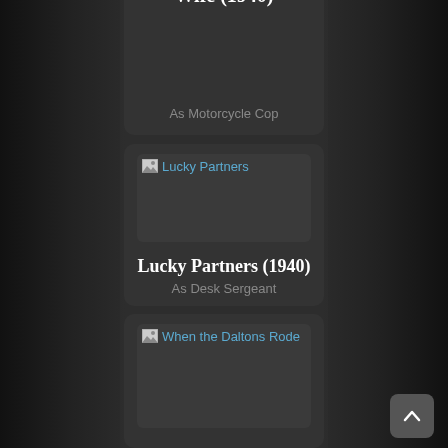Wife (1940)
As Motorcycle Cop
[Figure (photo): Broken image placeholder for Lucky Partners]
Lucky Partners (1940)
As Desk Sergeant
[Figure (photo): Broken image placeholder for When the Daltons Rode]